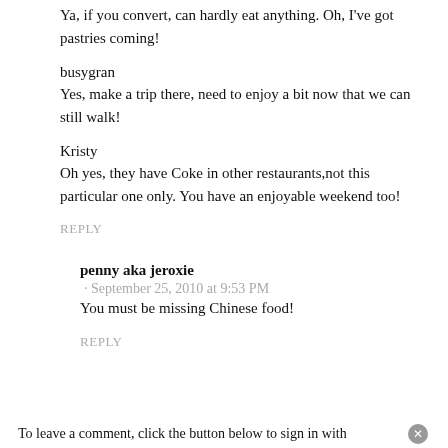Ya, if you convert, can hardly eat anything. Oh, I've got pastries coming!
busygran
Yes, make a trip there, need to enjoy a bit now that we can still walk!
Kristy
Oh yes, they have Coke in other restaurants,not this particular one only. You have an enjoyable weekend too!
REPLY
penny aka jeroxie
· September 25, 2010 at 9:53 PM
You must be missing Chinese food!
REPLY
To leave a comment, click the button below to sign in with